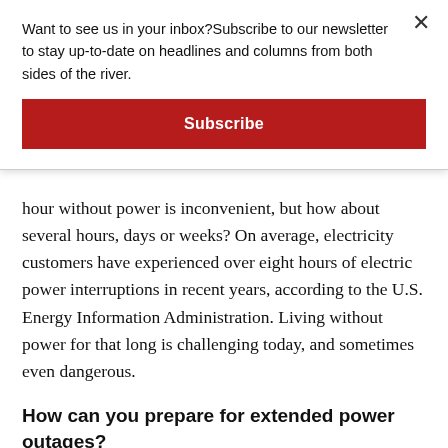Want to see us in your inbox? Subscribe to our newsletter to stay up-to-date on headlines and columns from both sides of the river.
Subscribe
hour without power is inconvenient, but how about several hours, days or weeks? On average, electricity customers have experienced over eight hours of electric power interruptions in recent years, according to the U.S. Energy Information Administration. Living without power for that long is challenging today, and sometimes even dangerous.
How can you prepare for extended power outages?
Weather is unpredictable, as is the reliability of the power grid when it is under strain. So how can you be ready? Here are some tips to help you feel more prepared.